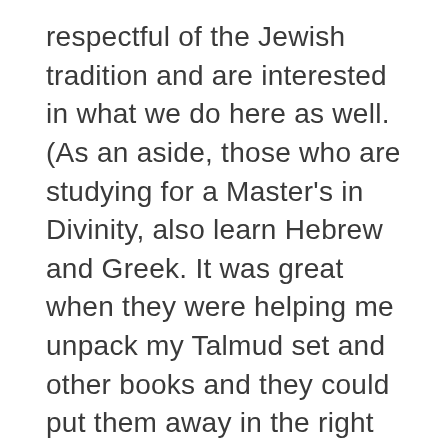respectful of the Jewish tradition and are interested in what we do here as well. (As an aside, those who are studying for a Master's in Divinity, also learn Hebrew and Greek. It was great when they were helping me unpack my Talmud set and other books and they could put them away in the right order because they could read the Hebrew!)
Josh T., who is now studying for his PhD in Egyptology, is a gifted and talented musician. He writes, directs and produces musicals for fun in his spare time. But he also researched all of our Jewish museum artifacts: ritual objects and ancient scrolls. He